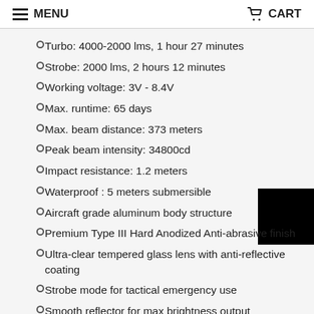MENU   CART
Turbo: 4000-2000 lms, 1 hour 27 minutes
Strobe: 2000 lms, 2 hours 12 minutes
Working voltage: 3V - 8.4V
Max. runtime: 65 days
Max. beam distance: 373 meters
Peak beam intensity: 34800cd
Impact resistance: 1.2 meters
Waterproof : 5 meters submersible
Aircraft grade aluminum body structure
Premium Type III Hard Anodized Anti-abrasive finish
Ultra-clear tempered glass lens with anti-reflective coating
Strobe mode for tactical emergency use
Smooth reflector for max brightness output
Tactical knurling for firm grip
Streamlined body design